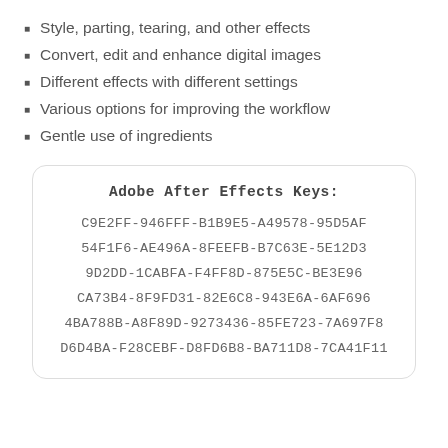Style, parting, tearing, and other effects
Convert, edit and enhance digital images
Different effects with different settings
Various options for improving the workflow
Gentle use of ingredients
Adobe After Effects Keys:
C9E2FF-946FFF-B1B9E5-A49578-95D5AF
54F1F6-AE496A-8FEEFB-B7C63E-5E12D3
9D2DD-1CABFA-F4FF8D-875E5C-BE3E96
CA73B4-8F9FD31-82E6C8-943E6A-6AF696
4BA788B-A8F89D-9273436-85FE723-7A697F8
D6D4BA-F28CEBF-D8FD6B8-BA711D8-7CA41F11